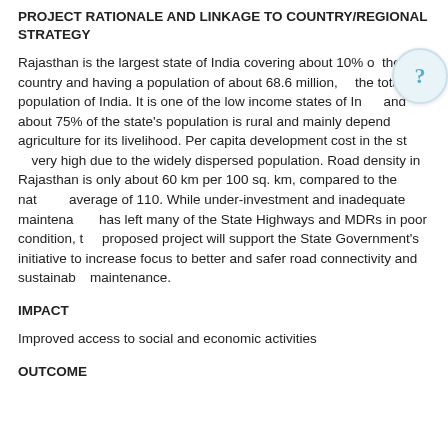PROJECT RATIONALE AND LINKAGE TO COUNTRY/REGIONAL STRATEGY
Rajasthan is the largest state of India covering about 10% of the country and having a population of about 68.6 million, the total population of India. It is one of the low income states of India and about 75% of the state's population is rural and mainly depends on agriculture for its livelihood. Per capita development cost in the state is very high due to the widely dispersed population. Road density in Rajasthan is only about 60 km per 100 sq. km, compared to the national average of 110. While under-investment and inadequate maintenance has left many of the State Highways and MDRs in poor condition, the proposed project will support the State Government's initiative to increase focus to better and safer road connectivity and sustainable maintenance.
IMPACT
Improved access to social and economic activities
OUTCOME